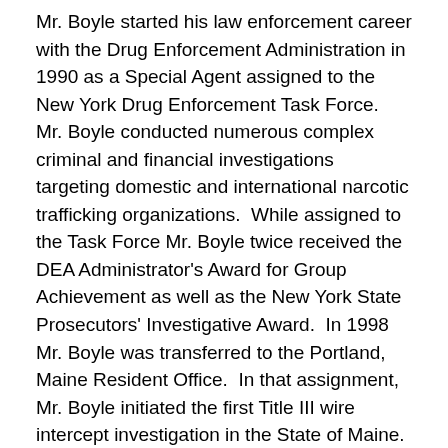Mr. Boyle started his law enforcement career with the Drug Enforcement Administration in 1990 as a Special Agent assigned to the New York Drug Enforcement Task Force.  Mr. Boyle conducted numerous complex criminal and financial investigations targeting domestic and international narcotic trafficking organizations.  While assigned to the Task Force Mr. Boyle twice received the DEA Administrator's Award for Group Achievement as well as the New York State Prosecutors' Investigative Award.  In 1998 Mr. Boyle was transferred to the Portland, Maine Resident Office.  In that assignment, Mr. Boyle initiated the first Title III wire intercept investigation in the State of Maine.
In 2003, Mr. Boyle was promoted to the Resident Agent in Charge of the Bridgeport, CT Resident Office where he served for five years.  In that role Mr. Boyle led international investigations targeting Dominican and Mexican drug trafficking organizations operating in Connecticut. Additionally, he oversaw the South...